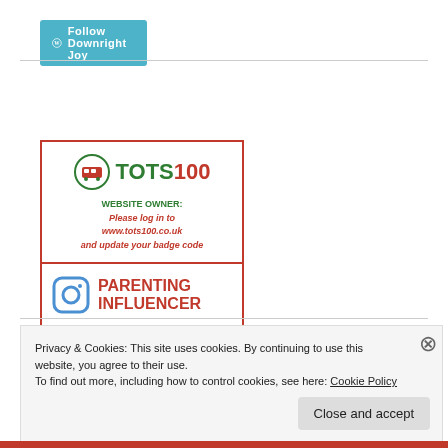[Figure (logo): Follow Downright Joy button with WordPress logo on teal background]
[Figure (logo): Tots100 badge with green and red text, website owner login message, and Parenting Influencer badge with Instagram icon]
Privacy & Cookies: This site uses cookies. By continuing to use this website, you agree to their use.
To find out more, including how to control cookies, see here: Cookie Policy
Close and accept